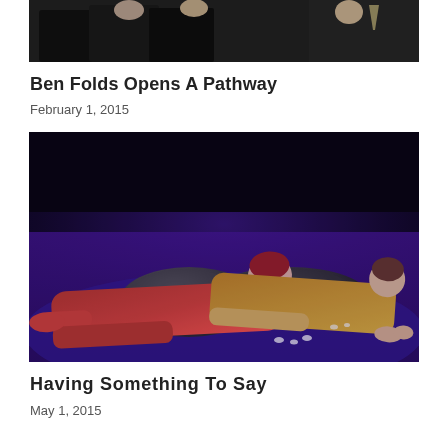[Figure (photo): Partial view of people at an event, cropped at top of page]
Ben Folds Opens A Pathway
February 1, 2015
[Figure (photo): Two performers in costume lying on a stage with blue/purple lighting, rocks as props. One in red outfit, one in yellow/tan outfit.]
Having Something To Say
May 1, 2015